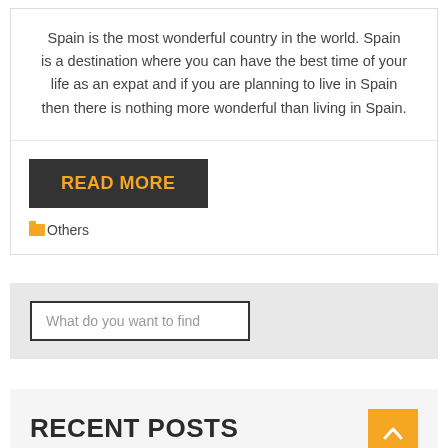Spain is the most wonderful country in the world. Spain is a destination where you can have the best time of your life as an expat and if you are planning to live in Spain then there is nothing more wonderful than living in Spain.
READ MORE
Others
What do you want to find
RECENT POSTS